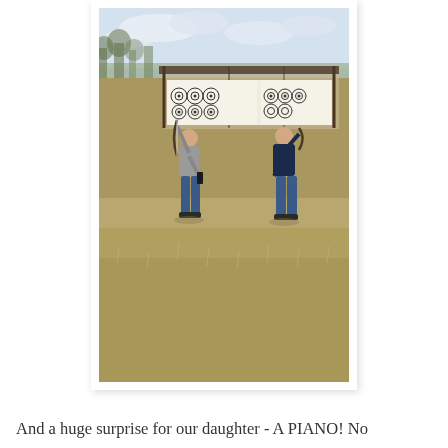[Figure (photo): Two people standing outdoors at an archery range, facing away from the camera toward a row of archery targets mounted under a covered shelter. The ground is covered in dry, brownish grass. Bare trees are visible in the background with a cloudy sky.]
And a huge surprise for our daughter - A PIANO! No